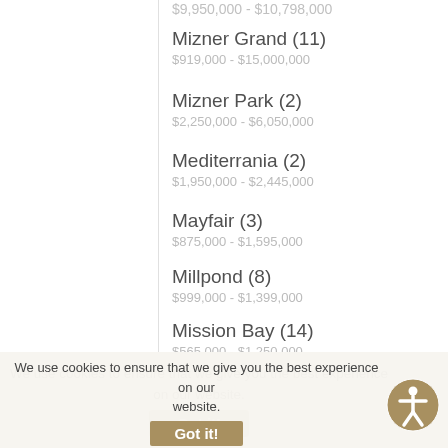$9,950,000 - $10,798,000
Mizner Grand (11)
$919,000 - $15,000,000
Mizner Park (2)
$2,250,000 - $6,050,000
Mediterrania (2)
$1,950,000 - $2,445,000
Mayfair (3)
$875,000 - $1,595,000
Millpond (8)
$999,000 - $1,399,000
Mission Bay (14)
$565,000 - $1,250,000
Montoya Estates West (1)
$1,190,000 - $1,190,000
N
Newport Bay Club (4)
$887,700 - $1,400,000
New Floresta (1)
$1,200,000 - $1,200,000
We use cookies to ensure that we give you the best experience on our website.
Got it!